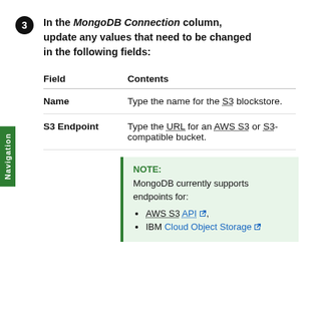3 In the MongoDB Connection column, update any values that need to be changed in the following fields:
| Field | Contents |
| --- | --- |
| Name | Type the name for the S3 blockstore. |
| S3 Endpoint | Type the URL for an AWS S3 or S3-compatible bucket. |
NOTE: MongoDB currently supports endpoints for: • AWS S3 API, • IBM Cloud Object Storage